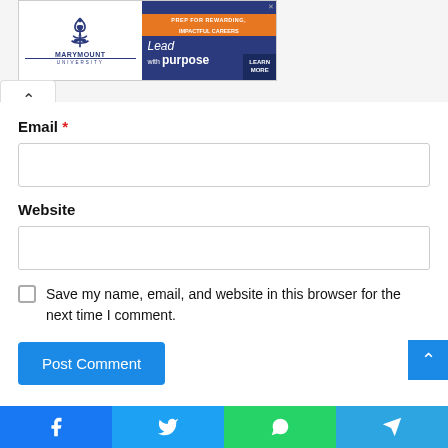[Figure (screenshot): Marymount University advertisement banner with orange bar 'PREP FOR REWARDING, IMPACTFUL CAREERS', 'Lead with purpose LEARN MORE' on dark blue background, with fleur-de-lis logo]
Email *
Website
Save my name, email, and website in this browser for the next time I comment.
Post Comment